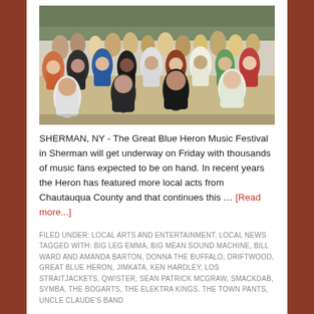[Figure (photo): Crowd of music festival attendees outdoors, seen from above, people dancing and walking on sandy ground with trees in background]
SHERMAN, NY - The Great Blue Heron Music Festival in Sherman will get underway on Friday with thousands of music fans expected to be on hand. In recent years the Heron has featured more local acts from Chautauqua County and that continues this … [Read more...]
FILED UNDER: LOCAL ARTS AND ENTERTAINMENT, LOCAL NEWS TAGGED WITH: BIG LEG EMMA, BIG MEAN SOUND MACHINE, BILL WARD AND AMANDA BARTON, DONNA THE BUFFALO, DRIFTWOOD, GREAT BLUE HERON, JIMKATA, KEN HARDLEY, LOS STRAITJACKETS, QWISTER, SEAN PATRICK MCGRAW, SMACKDAB, SYMBA, THE BOGARTS, THE ELEKTRA KINGS, THE TOWN PANTS, UNCLE CLAUDE'S BAND